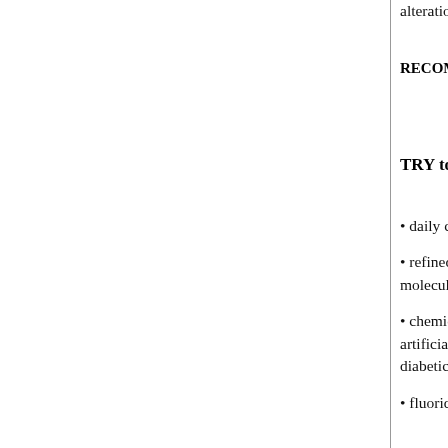alterations to your current practices can r
RECOMMENDATIONS:
TRY to AVOID
daily consumption of red meats
refined poisonous sugar, table salt, alco bleached flour products, hydrogenated fa margarine (one molecule away from beir butter
chemicals added to food (artificial pres BHT, nitrites, nitrates, sodium benzoates sausages, artificial colouring and flavorir aspartame, neotame, nutrasweet, equal, s diet sodas, bottled water, diabetic foods a calorie foods
fluoride, chlorine, aluminium and Teflo (mercury) dental fillings